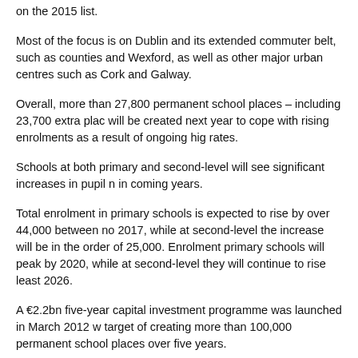on the 2015 list.
Most of the focus is on Dublin and its extended commuter belt, such as counties and Wexford, as well as other major urban centres such as Cork and Galway.
Overall, more than 27,800 permanent school places – including 23,700 extra places – will be created next year to cope with rising enrolments as a result of ongoing high rates.
Schools at both primary and second-level will see significant increases in pupil numbers in coming years.
Total enrolment in primary schools is expected to rise by over 44,000 between now and 2017, while at second-level the increase will be in the order of 25,000. Enrolments in primary schools will peak by 2020, while at second-level they will continue to rise until at least 2026.
A €2.2bn five-year capital investment programme was launched in March 2012 with a target of creating more than 100,000 permanent school places over five years.
As well as new schools, other projects will see the replacement of temporary or unsatisfactory accommodation.
Ms O'Sullivan said her "primary aim is to ensure that there are sufficient school